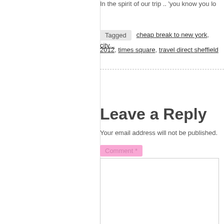In the spirit of our trip .. 'you know you lo
Tagged  cheap break to new york ,  city ... , 2012 ,  times square ,  travel direct sheffield
Leave a Reply
Your email address will not be published.
Comment *
Name *